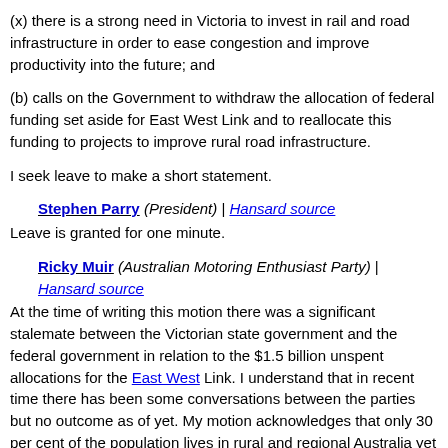(x) there is a strong need in Victoria to invest in rail and road infrastructure in order to ease congestion and improve productivity into the future; and
(b) calls on the Government to withdraw the allocation of federal funding set aside for East West Link and to reallocate this funding to projects to improve rural road infrastructure.
I seek leave to make a short statement.
Stephen Parry (President) | Hansard source
Leave is granted for one minute.
Ricky Muir (Australian Motoring Enthusiast Party) | Hansard source
At the time of writing this motion there was a significant stalemate between the Victorian state government and the federal government in relation to the $1.5 billion unspent allocations for the East West Link. I understand that in recent time there has been some conversations between the parties but no outcome as of yet. My motion acknowledges that only 30 per cent of the population lives in rural and regional Australia yet over 50 per cent of road fatalities occur in these areas. It was my intention to encourage all sides of government to consider the increasingly poor conditions of rural roads and the subsequent fatality rate and to spend the unspent allocations on upgrading rural roads, where the funding is desperately needed for safety reasons, not just